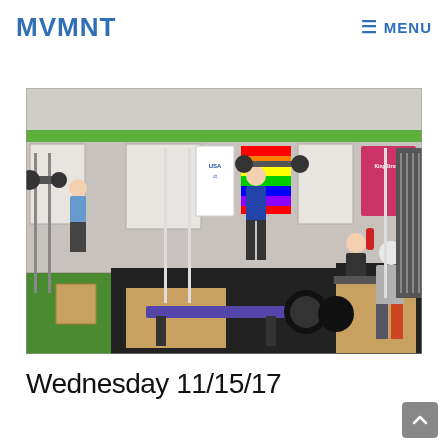MVMNT  ≡ MENU
[Figure (photo): Interior of a weightlifting gym with multiple athletes performing barbell exercises. Green turf flooring on left, black rubber mats in center and right, wooden lifting platforms. Banners and flags on the wall including rainbow flag, USA Weightlifting, and another sponsor banner. Squat racks, barbells, and weight plates visible throughout.]
Wednesday 11/15/17